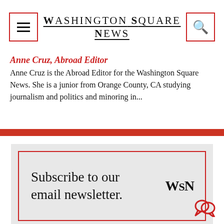Washington Square News
Anne Cruz, Abroad Editor
Anne Cruz is the Abroad Editor for the Washington Square News. She is a junior from Orange County, CA studying journalism and politics and minoring in...
[Figure (infographic): Subscribe to our email newsletter. WSN logo]
[Figure (other): Chat/comment bubble icon in red at bottom right]